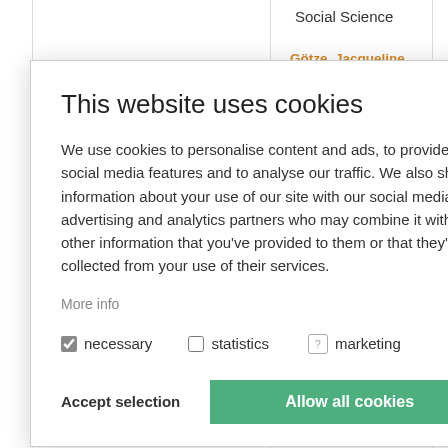Social Science
Götze, Jacqueline
Political Scientist
Hackenesch, Christine
Political Science
Hilbrich, Sören
Economy
Hagele, Ramona
Political Scientist
Iacobuta, Gabriela
Climate and sustainable development policy
Mus, H
Political Science
Kativu, Saymore Ngo...
Geography
This website uses cookies
We use cookies to personalise content and ads, to provide social media features and to analyse our traffic. We also share information about your use of our site with our social media, advertising and analytics partners who may combine it with other information that you've provided to them or that they've collected from your use of their services.
More info
necessary
statistics
marketing
Accept selection
Allow all cookies